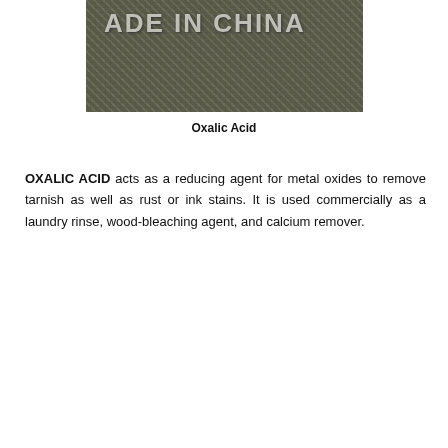[Figure (photo): Close-up photograph of a mesh/net bag labeled 'MADE IN CHINA' containing what appears to be oxalic acid product, shown against a dark background with texture.]
Oxalic Acid
OXALIC ACID acts as a reducing agent for metal oxides to remove tarnish as well as rust or ink stains. It is used commercially as a laundry rinse, wood-bleaching agent, and calcium remover.